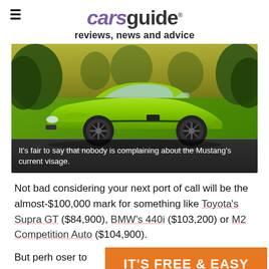carsguide
reviews, news and advice
[Figure (photo): Side profile of a bright green Ford Mustang GT on a road with trees in background]
It's fair to say that nobody is complaining about the Mustang's current visage.
Not bad considering your next port of call will be the almost-$100,000 mark for something like Toyota's Supra GT ($84,900), BMW's 440i ($103,200) or M2 Competition Auto ($104,900).
But perh...oser to the mar...r doors
[Figure (infographic): Orange banner overlay reading IT'S FREE & EASY]